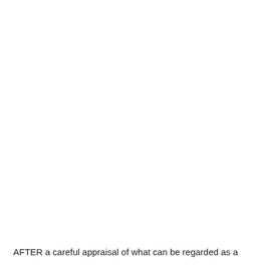AFTER a careful appraisal of what can be regarded as a